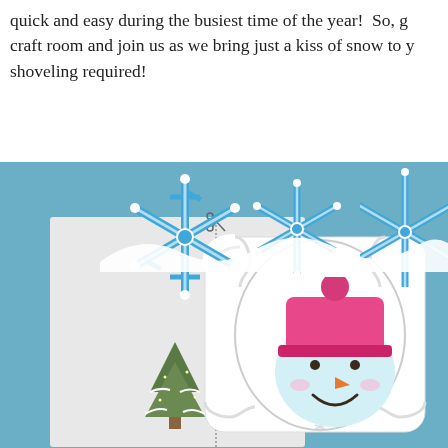quick and easy during the busiest time of the year!  So, g… craft room and join us as we bring just a kiss of snow to y… shoveling required!
[Figure (photo): A handmade winter greeting card featuring blue snowflake die-cuts arranged along the top of a white ornate frame. Inside the frame is a colorful stamp of a snowman wearing a pink knit hat with a pompom, with a carrot nose and a smile. A glittery Christmas tree is visible on the left side. The background is a muted teal/blue-grey color. The card sits on a light grey/white background.]